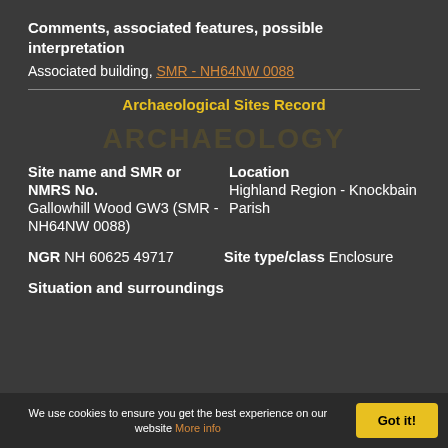Comments, associated features, possible interpretation
Associated building, SMR - NH64NW 0088
Archaeological Sites Record
Site name and SMR or NMRS No.
Gallowhill Wood GW3 (SMR - NH64NW 0088)
Location
Highland Region - Knockbain Parish
NGR NH 60625 49717
Site type/class Enclosure
Situation and surroundings
We use cookies to ensure you get the best experience on our website More info